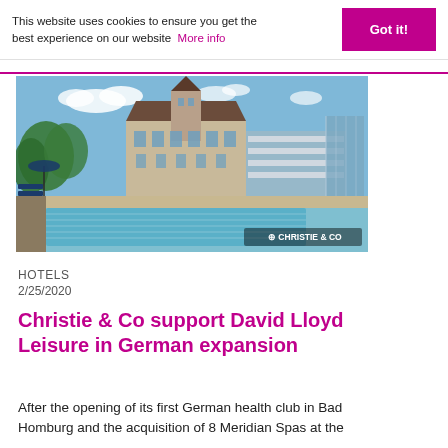This website uses cookies to ensure you get the best experience on our website  More info
[Figure (photo): Hotel building with outdoor swimming pool and modern extension, branded with Christie & Co logo]
HOTELS
2/25/2020
Christie & Co support David Lloyd Leisure in German expansion
After the opening of its first German health club in Bad Homburg and the acquisition of 8 Meridian Spas at the